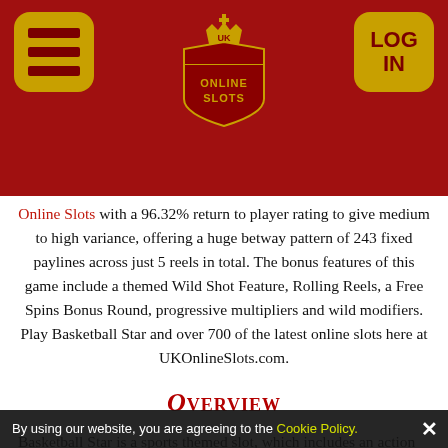[Figure (logo): UK Online Slots website header with hamburger menu icon on the left, UK Online Slots crown logo in the center, and LOG IN button on the right, all on a dark red background.]
Online Slots with a 96.32% return to player rating to give medium to high variance, offering a huge betway pattern of 243 fixed paylines across just 5 reels in total. The bonus features of this game include a themed Wild Shot Feature, Rolling Reels, a Free Spins Bonus Round, progressive multipliers and wild modifiers. Play Basketball Star and over 700 of the latest online slots here at UKOnlineSlots.com.
Overview
Basketball Star is a sports themed slot, which includes an action packed design with a bigger reel, higher paylines and various bonus features throughout. This slot is rather fast paced and full of bonus symbols, complete with upbeat audio and animation to recreate the excitement and
By using our website, you are agreeing to the Cookie Policy. ✕